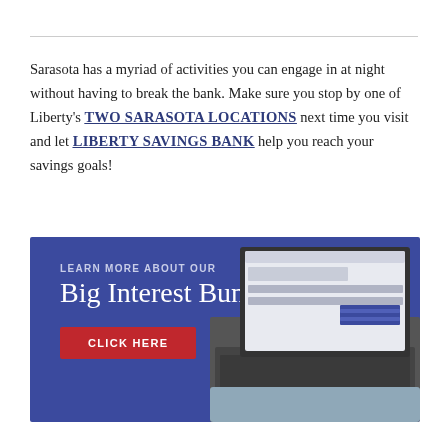Sarasota has a myriad of activities you can engage in at night without having to break the bank. Make sure you stop by one of Liberty's TWO SARASOTA LOCATIONS next time you visit and let LIBERTY SAVINGS BANK help you reach your savings goals!
[Figure (infographic): Blue banner advertisement for Liberty Savings Bank's Big Interest Bundle. Left side shows text: 'LEARN MORE ABOUT OUR / Big Interest Bundle' with a red 'CLICK HERE' button. Right side shows a person using a laptop with the bank's website visible on screen.]